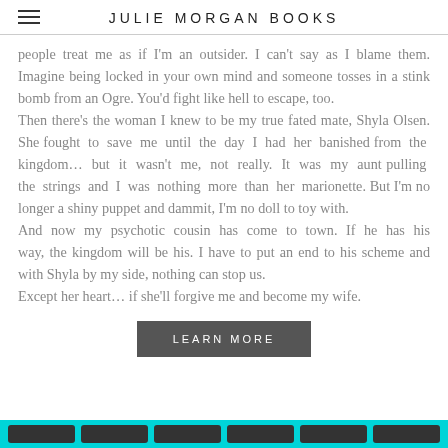JULIE MORGAN BOOKS
people treat me as if I'm an outsider. I can't say as I blame them. Imagine being locked in your own mind and someone tosses in a stink bomb from an Ogre. You'd fight like hell to escape, too. Then there's the woman I knew to be my true fated mate, Shyla Olsen. She fought to save me until the day I had her banished from the kingdom... but it wasn't me, not really. It was my aunt pulling the strings and I was nothing more than her marionette. But I'm no longer a shiny puppet and dammit, I'm no doll to toy with. And now my psychotic cousin has come to town. If he has his way, the kingdom will be his. I have to put an end to his scheme and with Shyla by my side, nothing can stop us. Except her heart... if she'll forgive me and become my wife.
LEARN MORE